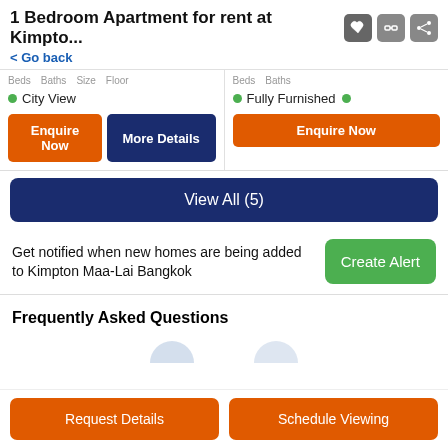1 Bedroom Apartment for rent at Kimpto...
< Go back
Beds  Baths  Size  Floor  Beds  Baths
City View
Fully Furnished
Enquire Now
More Details
Enquire Now
View All (5)
Get notified when new homes are being added to Kimpton Maa-Lai Bangkok
Create Alert
Frequently Asked Questions
Request Details
Schedule Viewing